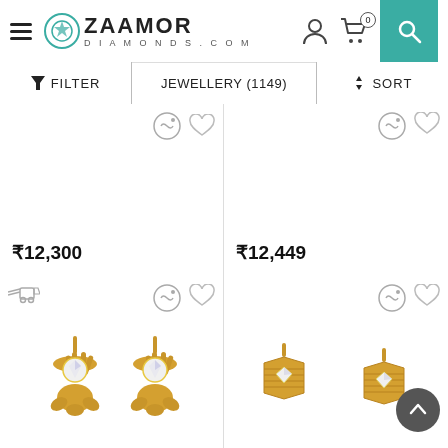[Figure (screenshot): Zaamor Diamonds website header with hamburger menu, logo, user icon, cart icon (0 items), and teal search button]
▼ FILTER | JEWELLERY (1149) | ⬥ SORT
₹12,300
₹12,449
[Figure (photo): Two gold diamond stud earrings with solitaire diamond centers, yellow gold prong setting]
[Figure (photo): Two hexagonal gold earrings with diamond center, yellow gold geometric design]